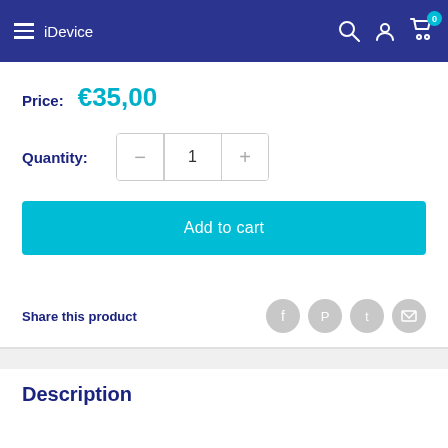iDevice
Price: €35,00
Quantity: 1
Add to cart
Share this product
Description